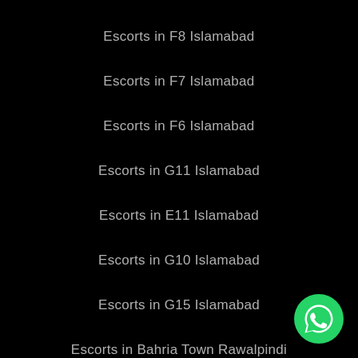Escorts in F8 Islamabad
Escorts in F7 Islamabad
Escorts in F6 Islamabad
Escorts in G11 Islamabad
Escorts in E11 Islamabad
Escorts in G10 Islamabad
Escorts in G15 Islamabad
Escorts in Bahria Town Rawalpindi
Escorts in PWD Rawalpindi
Escorts in Rawalpindi
[Figure (illustration): Green WhatsApp button icon in bottom-right corner]